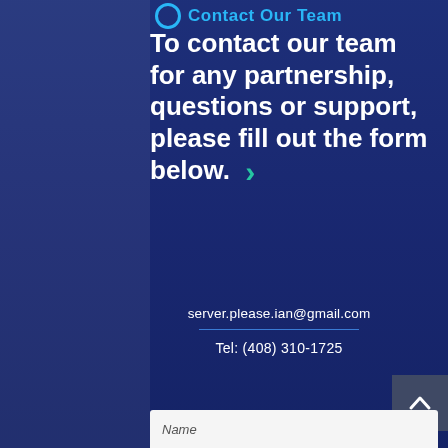Contact Our Team
To contact our team for any partnership, questions or support, please fill out the form below.
server.please.ian@gmail.com
Tel: (408) 310-1725
Name